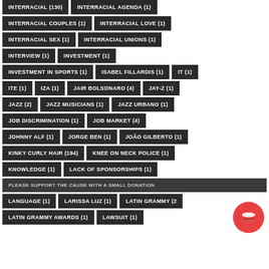INTERRACIAL (130)
INTERRACIAL AGENDA (1)
INTERRACIAL COUPLES (1)
INTERRACIAL LOVE (1)
INTERRACIAL SEX (1)
INTERRACIAL UNIONS (1)
INTERVIEW (1)
INVESTMENT (1)
INVESTMENT IN SPORTS (1)
ISABEL FILLARDIS (1)
IT (1)
ITE (1)
IZA (1)
JAIR BOLSONARO (4)
JAY-Z (1)
JAZZ (2)
JAZZ MUSICIANS (1)
JAZZ URBANO (1)
JOB DISCRIMINATION (1)
JOB MARKET (4)
JOHNNY ALF (1)
JORGE BEN (1)
JOÃO GILBERTO (1)
KINKY CURLY HAIR (194)
KNEE ON NECK POLICE (1)
KNOWLEDGE (1)
LACK OF SPONSORSHIPS (1)
PLEASE SUPPORT THE CAUSE WITH A SMALL DONATION
LANGUAGE (1)
LARISSA LUZ (1)
LATIN GRAMMY (2)
LATIN GRAMMY AWARDS (1)
LAWSUIT (1)